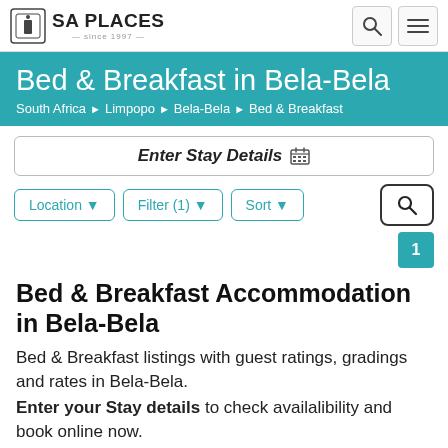SA PLACES — since 1997 —
Bed & Breakfast in Bela-Bela
South Africa › Limpopo › Bela-Bela › Bed & Breakfast
Enter Stay Details
Location ▼   Filter (1) ▼   Sort ▼
1
Bed & Breakfast Accommodation in Bela-Bela
Bed & Breakfast listings with guest ratings, gradings and rates in Bela-Bela. Enter your Stay details to check availalibility and book online now.